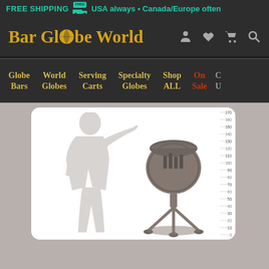FREE SHIPPING [truck icon] FREE  USA always • Canada/Europe often
Bar Globe World
Globe Bars | World Globes | Serving Carts | Specialty Globes | Shop ALL | On Sale | C U
[Figure (infographic): Size comparison diagram showing a human silhouette standing next to a globe bar (bar cart shaped like a globe on a stand), with a metric ruler on the right side showing measurements from 0 to 170 cm.]